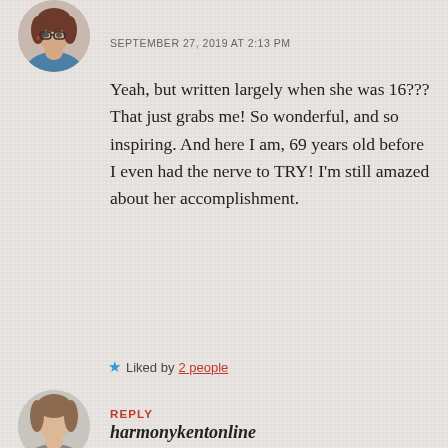[Figure (photo): Circular avatar photo of a woman with glasses and short hair, partially cropped at the top of the page]
SEPTEMBER 27, 2019 AT 2:13 PM
Yeah, but written largely when she was 16??? That just grabs me! So wonderful, and so inspiring. And here I am, 69 years old before I even had the nerve to TRY! I'm still amazed about her accomplishment.
★ Liked by 2 people
REPLY
[Figure (photo): Circular avatar photo of a woman, partially visible at the bottom of the page]
harmonykentonline